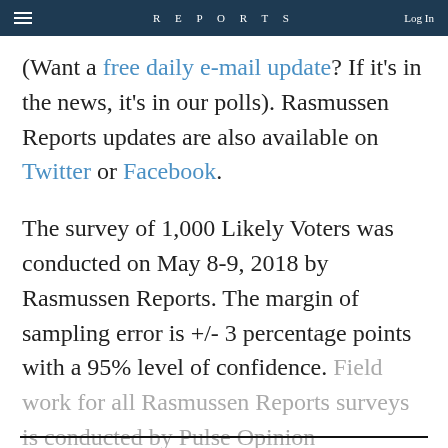REPORTS
(Want a free daily e-mail update? If it's in the news, it's in our polls). Rasmussen Reports updates are also available on Twitter or Facebook.
The survey of 1,000 Likely Voters was conducted on May 8-9, 2018 by Rasmussen Reports. The margin of sampling error is +/- 3 percentage points with a 95% level of confidence. Field work for all Rasmussen Reports surveys is conducted by Pulse Opinion